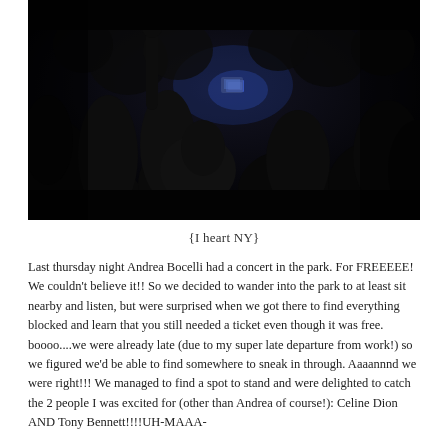[Figure (photo): Dark photograph of a dense crowd at a nighttime outdoor concert, silhouettes of people with some blue light visible in the background.]
{I heart NY}
Last thursday night Andrea Bocelli had a concert in the park. For FREEEEE! We couldn't believe it!! So we decided to wander into the park to at least sit nearby and listen, but were surprised when we got there to find everything blocked and learn that you still needed a ticket even though it was free. boooo....we were already late (due to my super late departure from work!) so we figured we'd be able to find somewhere to sneak in through. Aaaannnd we were right!!! We managed to find a spot to stand and were delighted to catch the 2 people I was excited for (other than Andrea of course!): Celine Dion AND Tony Bennett!!!!UH-MAAA-